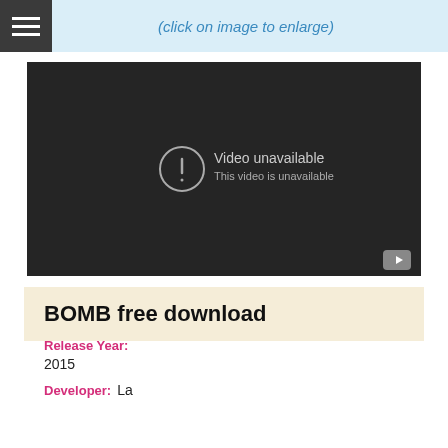(click on image to enlarge)
[Figure (screenshot): Embedded video player showing 'Video unavailable – This video is unavailable' message on a dark background with a YouTube logo in the bottom right corner.]
BOMB free download
Release Year:
2015
Developer: La